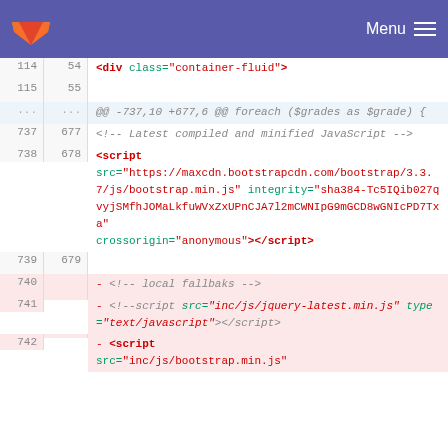GitLab navigation bar with Menu
Code diff view showing lines 114-742 of a file with HTML/script changes